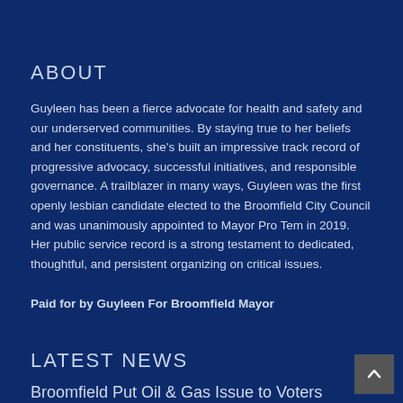ABOUT
Guyleen has been a fierce advocate for health and safety and our underserved communities. By staying true to her beliefs and her constituents, she's built an impressive track record of progressive advocacy, successful initiatives, and responsible governance. A trailblazer in many ways, Guyleen was the first openly lesbian candidate elected to the Broomfield City Council and was unanimously appointed to Mayor Pro Tem in 2019. Her public service record is a strong testament to dedicated, thoughtful, and persistent organizing on critical issues.
Paid for by Guyleen For Broomfield Mayor
LATEST NEWS
Broomfield Put Oil & Gas Issue to Voters